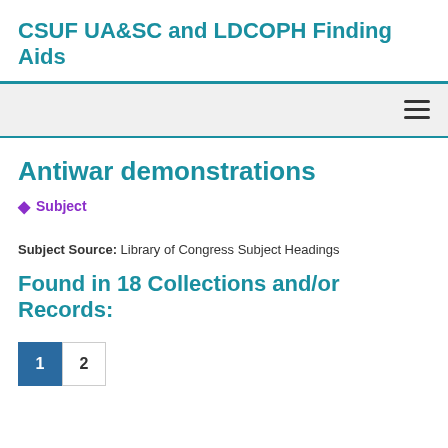CSUF UA&SC and LDCOPH Finding Aids
Antiwar demonstrations
Subject
Subject Source: Library of Congress Subject Headings
Found in 18 Collections and/or Records:
1  2